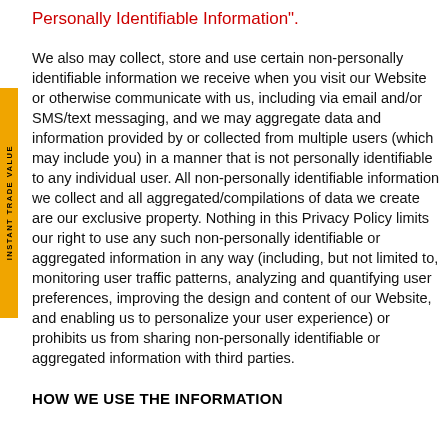Personally Identifiable Information".
We also may collect, store and use certain non-personally identifiable information we receive when you visit our Website or otherwise communicate with us, including via email and/or SMS/text messaging, and we may aggregate data and information provided by or collected from multiple users (which may include you) in a manner that is not personally identifiable to any individual user. All non-personally identifiable information we collect and all aggregated/compilations of data we create are our exclusive property. Nothing in this Privacy Policy limits our right to use any such non-personally identifiable or aggregated information in any way (including, but not limited to, monitoring user traffic patterns, analyzing and quantifying user preferences, improving the design and content of our Website, and enabling us to personalize your user experience) or prohibits us from sharing non-personally identifiable or aggregated information with third parties.
HOW WE USE THE INFORMATION